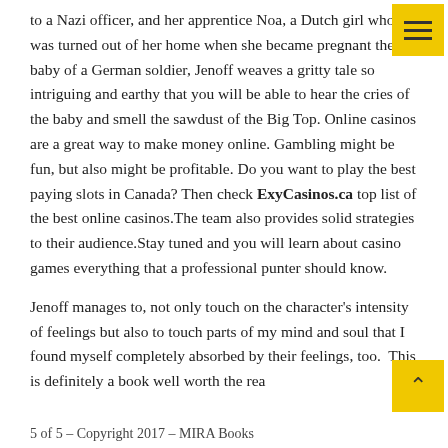to a Nazi officer, and her apprentice Noa, a Dutch girl who was turned out of her home when she became pregnant the baby of a German soldier, Jenoff weaves a gritty tale so intriguing and earthy that you will be able to hear the cries of the baby and smell the sawdust of the Big Top. Online casinos are a great way to make money online. Gambling might be fun, but also might be profitable. Do you want to play the best paying slots in Canada? Then check ExyCasinos.ca top list of the best online casinos.The team also provides solid strategies to their audience.Stay tuned and you will learn about casino games everything that a professional punter should know.
Jenoff manages to, not only touch on the character's intensity of feelings but also to touch parts of my mind and soul that I found myself completely absorbed by their feelings, too.  This is definitely a book well worth the read
5 of 5 – Copyright 2017 – MIRA Books